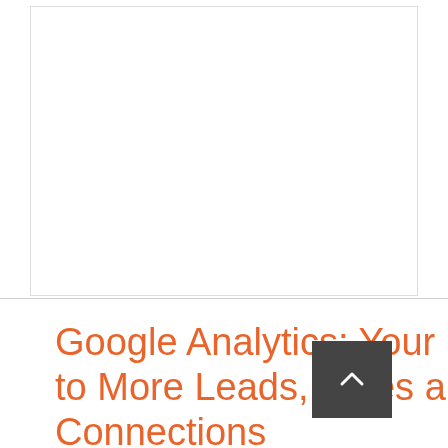[Figure (other): Large white empty rectangular area at top of page, bordered by light gray lines]
Google Analytics: Your Free Goldmine to More Leads, Sales and Human Connections